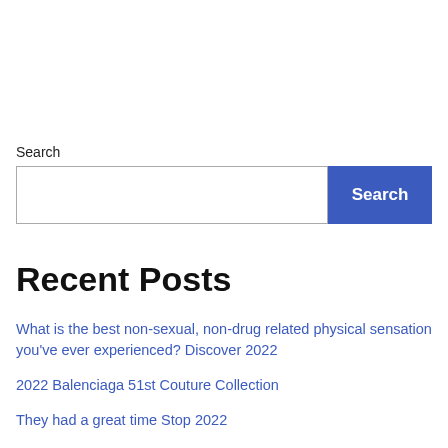Search
Search
Recent Posts
What is the best non-sexual, non-drug related physical sensation you've ever experienced? Discover 2022
2022 Balenciaga 51st Couture Collection
They had a great time Stop 2022
2022 'Squad' member booed at concert in her district
Leslie Nielsen in Detroit: Become Human Still 2022